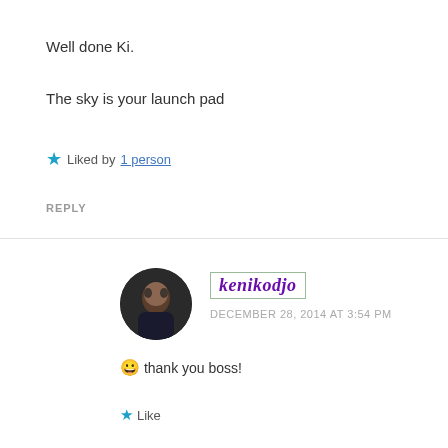Well done Ki.
The sky is your launch pad
★ Liked by 1 person
REPLY
kenikodjo
DECEMBER 28, 2014 AT 3:54 PM
😀 thank you boss!
★ Like